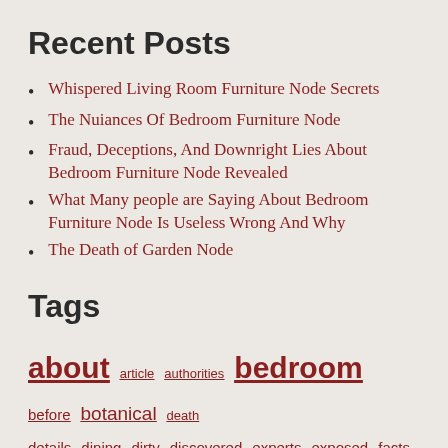Recent Posts
Whispered Living Room Furniture Node Secrets
The Nuiances Of Bedroom Furniture Node
Fraud, Deceptions, And Downright Lies About Bedroom Furniture Node Revealed
What Many people are Saying About Bedroom Furniture Node Is Useless Wrong And Why
The Death of Garden Node
Tags
about article authorities bedroom before botanical death details dining dirty discovered experts exposed facts